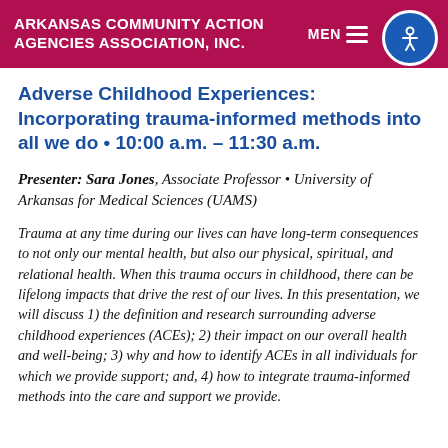ARKANSAS COMMUNITY ACTION AGENCIES ASSOCIATION, INC.
Adverse Childhood Experiences: Incorporating trauma-informed methods into all we do • 10:00 a.m. – 11:30 a.m.
Presenter: Sara Jones, Associate Professor • University of Arkansas for Medical Sciences (UAMS)
Trauma at any time during our lives can have long-term consequences to not only our mental health, but also our physical, spiritual, and relational health. When this trauma occurs in childhood, there can be lifelong impacts that drive the rest of our lives. In this presentation, we will discuss 1) the definition and research surrounding adverse childhood experiences (ACEs); 2) their impact on our overall health and well-being; 3) why and how to identify ACEs in all individuals for which we provide support; and, 4) how to integrate trauma-informed methods into the care and support we provide.